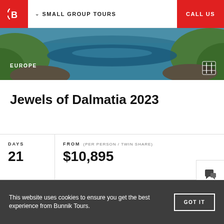SMALL GROUP TOURS  CALL US
[Figure (photo): Aerial view of blue coastal water and rocky cliffs with green vegetation — Europe hero banner image]
EUROPE
Jewels of Dalmatia 2023
DAYS 21  FROM (PER PERSON / TWIN SHARE) $10,895
[Figure (photo): Street view of European old-town buildings with red-tiled roofs and autumn trees]
This website uses cookies to ensure you get the best experience from Bunnik Tours.  GOT IT